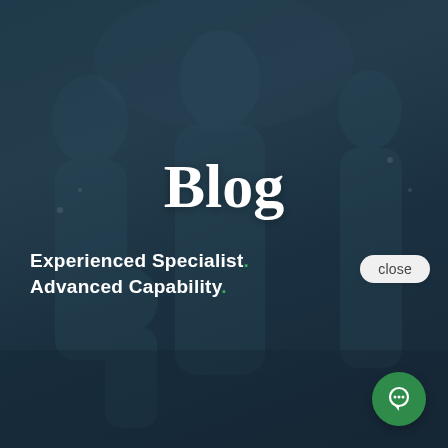[Figure (photo): Dark teal-overlaid background photo showing a smiling family with adults and children, used as a website blog section hero image]
Blog
Experienced Specialist. Advanced Capability.
close
[Figure (illustration): Chat bubble popup with Forest Hills Orthodontic Associates logo and text: Hi there, have a question? Text us here. With a green circular chat icon button at bottom right.]
Hi there, have a question? Text us here.